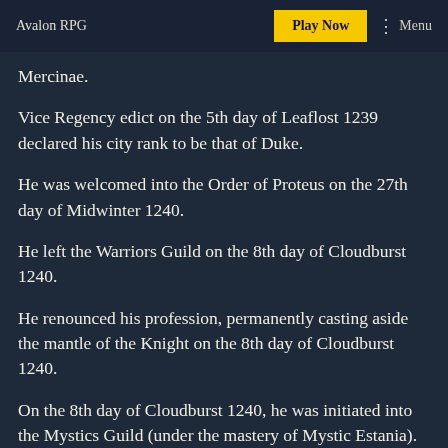Avalon RPG | Play Now | Menu
Mercinae.
Vice Regency edict on the 5th day of Leaflost 1239 declared his city rank to be that of Duke.
He was welcomed into the Order of Proteus on the 27th day of Midwinter 1240.
He left the Warriors Guild on the 8th day of Cloudburst 1240.
He renounced his profession, permanently casting aside the mantle of the Knight on the 8th day of Cloudburst 1240.
On the 8th day of Cloudburst 1240, he was initiated into the Mystics Guild (under the mastery of Mystic Estania).
On the 8th day of Cloudburst 1240, he completed